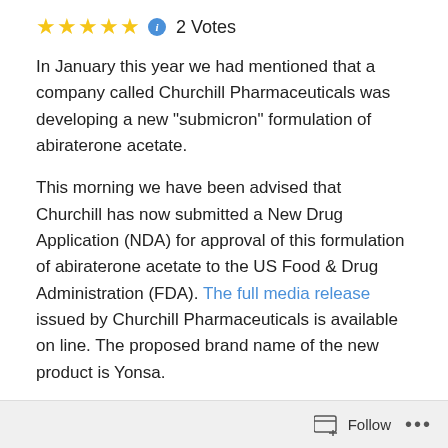[Figure (other): Five gold stars rating with info icon and '2 Votes' label]
In January this year we had mentioned that a company called Churchill Pharmaceuticals was developing a new “submicron” formulation of abiraterone acetate.
This morning we have been advised that Churchill has now submitted a New Drug Application (NDA) for approval of this formulation of abiraterone acetate to the US Food & Drug Administration (FDA). The full media release issued by Churchill Pharmaceuticals is available on line. The proposed brand name of the new product is Yonsa.
Note that
This new formulation of abiraterone acetate is effectively a slightly different form of abiraterone
Follow ...